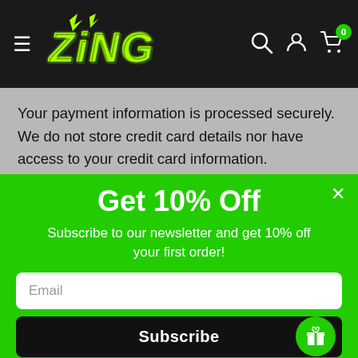[Figure (screenshot): Zing store navigation bar with hamburger menu, Zing logo, search icon, account icon, and cart icon with 0 badge on black background]
Your payment information is processed securely. We do not store credit card details nor have access to your credit card information.
Get 10% Off
Subscribe to our newsletter and get 10% off your first order!
Email
Subscribe